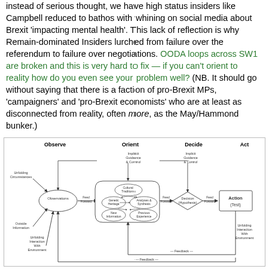instead of serious thought, we have high status insiders like Campbell reduced to bathos with whining on social media about Brexit 'impacting mental health'. This lack of reflection is why Remain-dominated Insiders lurched from failure over the referendum to failure over negotiations. OODA loops across SW1 are broken and this is very hard to fix — if you can't orient to reality how do you even see your problem well? (NB. It should go without saying that there is a faction of pro-Brexit MPs, 'campaigners' and 'pro-Brexit economists' who are at least as disconnected from reality, often more, as the May/Hammond bunker.)
[Figure (flowchart): OODA loop diagram showing four stages: Observe (Observations, Unfolding Circumstances, Outside Information, Implicit Guidance & Control), Orient (Cultural Traditions, Genetic Heritage, Analyses & Synthesis, New Information, Previous Experience), Decide (Decision/Hypothesis, Implicit Guidance & Control), and Act (Action/Test, Unfolding Interaction With Environment). Arrows show Feed Forward connections between stages and Feedback loops from Act back to earlier stages.]